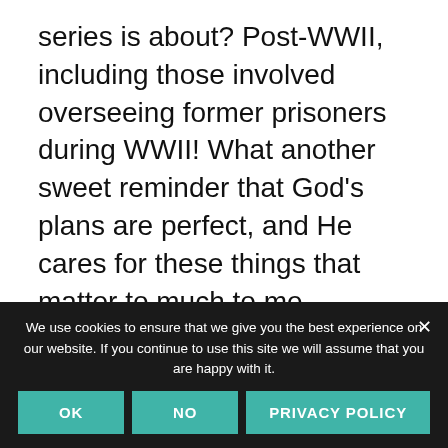series is about? Post-WWII, including those involved overseeing former prisoners during WWII! What another sweet reminder that God’s plans are perfect, and He cares for these things that matter to much to me.
God shows up. It’s my job to SEE Him when He does. And praise Him.
We use cookies to ensure that we give you the best experience on our website. If you continue to use this site we will assume that you are happy with it.